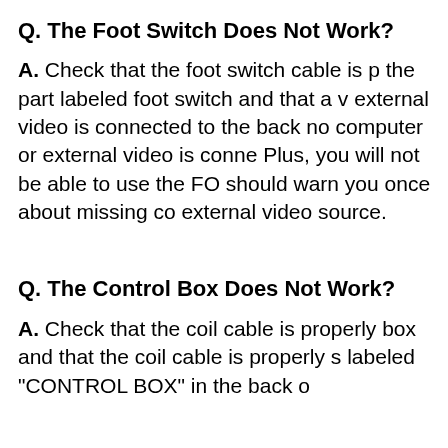Q. The Foot Switch Does Not Work?
A. Check that the foot switch cable is plugged into the part labeled foot switch and that a video or external video is connected to the back. If no computer or external video is connected to the Plus, you will not be able to use the FOOT switch should warn you once about missing computer or external video source.
Q. The Control Box Does Not Work?
A. Check that the coil cable is properly connected to box and that the coil cable is properly secured labeled "CONTROL BOX" in the back of